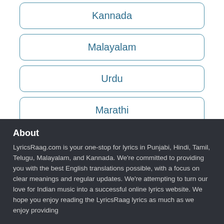Kannada
Malayalam
Urdu
Marathi
About
LyricsRaag.com is your one-stop for lyrics in Punjabi, Hindi, Tamil, Telugu, Malayalam, and Kannada. We're committed to providing you with the best English translations possible, with a focus on clear meanings and regular updates. We're attempting to turn our love for Indian music into a successful online lyrics website. We hope you enjoy reading the LyricsRaag lyrics as much as we enjoy providing